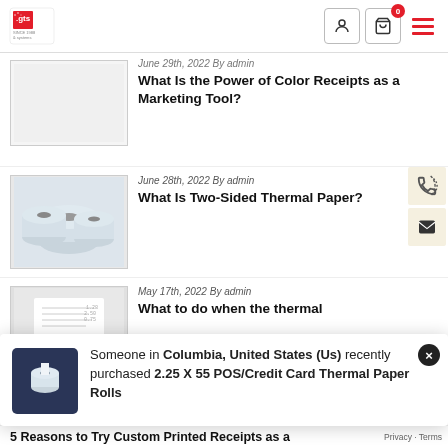GTS - store label & systems | navigation with logo, user icon, cart (0), hamburger menu
[Figure (screenshot): Thumbnail image placeholder for color receipts article]
June 29th, 2022 By admin
What Is the Power of Color Receipts as a Marketing Tool?
[Figure (photo): Photo of thermal paper rolls stacked together]
June 28th, 2022 By admin
What Is Two-Sided Thermal Paper?
[Figure (photo): Partial photo of a thermal paper receipt]
May 17th, 2022 By admin
What to do when the thermal
Someone in Columbia, United States (Us) recently purchased 2.25 X 55 POS/Credit Card Thermal Paper Rolls
5 Reasons to Try Custom Printed Receipts as a
Privacy · Terms